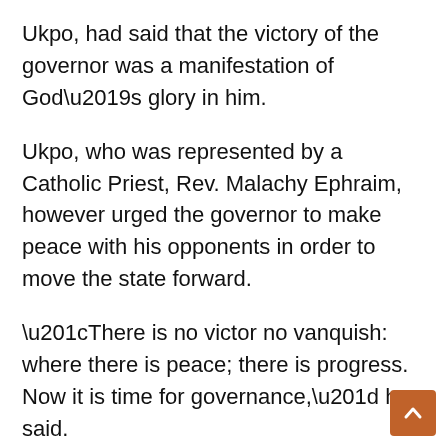Ukpo, had said that the victory of the governor was a manifestation of God’s glory in him.
Ukpo, who was represented by a Catholic Priest, Rev. Malachy Ephraim, however urged the governor to make peace with his opponents in order to move the state forward.
“There is no victor no vanquish: where there is peace; there is progress. Now it is time for governance,” he said.
The service was attended by the state deputy governor, PDP members from all the 18 local government areas of the state as well as stude…